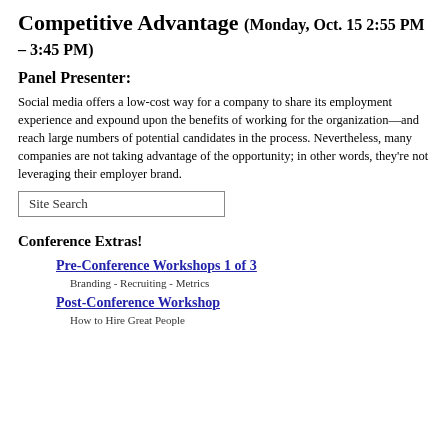Competitive Advantage (Monday, Oct. 15 2:55 PM – 3:45 PM)
Panel Presenter:
Social media offers a low-cost way for a company to share its employment experience and expound upon the benefits of working for the organization—and reach large numbers of potential candidates in the process. Nevertheless, many companies are not taking advantage of the opportunity; in other words, they're not leveraging their employer brand.
Site Search
Conference Extras!
Pre-Conference Workshops 1 of 3
Branding - Recruiting - Metrics
Post-Conference Workshop
How to Hire Great People